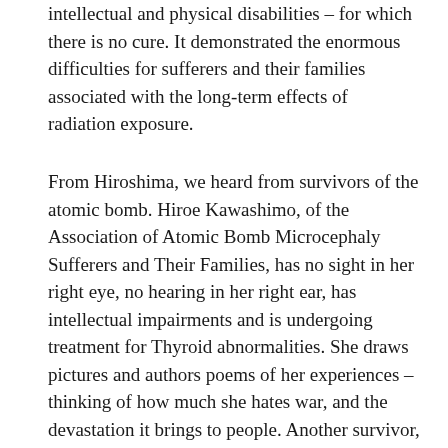intellectual and physical disabilities – for which there is no cure. It demonstrated the enormous difficulties for sufferers and their families associated with the long-term effects of radiation exposure.
From Hiroshima, we heard from survivors of the atomic bomb. Hiroe Kawashimo, of the Association of Atomic Bomb Microcephaly Sufferers and Their Families, has no sight in her right eye, no hearing in her right ear, has intellectual impairments and is undergoing treatment for Thyroid abnormalities. She draws pictures and authors poems of her experiences – thinking of how much she hates war, and the devastation it brings to people. Another survivor, Toshiko Tanaka, expressed hope for